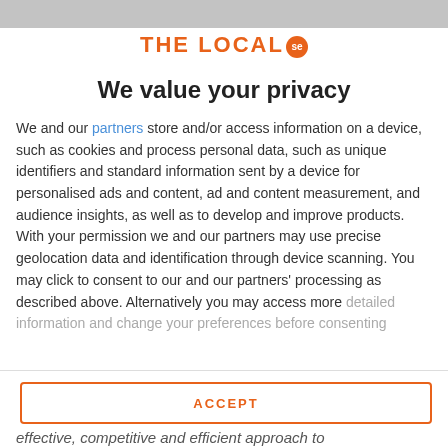[Figure (logo): The Local SE logo — orange text 'THE LOCAL' with an orange circle badge containing 'se']
We value your privacy
We and our partners store and/or access information on a device, such as cookies and process personal data, such as unique identifiers and standard information sent by a device for personalised ads and content, ad and content measurement, and audience insights, as well as to develop and improve products. With your permission we and our partners may use precise geolocation data and identification through device scanning. You may click to consent to our and our partners' processing as described above. Alternatively you may access more detailed information and change your preferences before consenting
ACCEPT
MORE OPTIONS
effective, competitive and efficient approach to